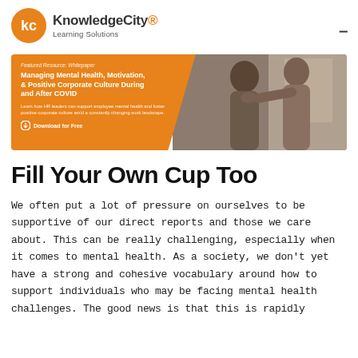KnowledgeCity® Learning Solutions
[Figure (infographic): Featured Resource Whitepaper banner: Managing Mental Health, Motivation, & Positive Corporate Culture During and After COVID. Orange background on left with text and Download for Free button. Right side shows photo of two people, one consoling the other.]
Fill Your Own Cup Too
We often put a lot of pressure on ourselves to be supportive of our direct reports and those we care about. This can be really challenging, especially when it comes to mental health. As a society, we don't yet have a strong and cohesive vocabulary around how to support individuals who may be facing mental health challenges. The good news is that this is rapidly